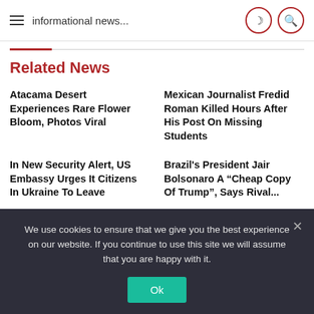informational news...
Related News
Atacama Desert Experiences Rare Flower Bloom, Photos Viral
Mexican Journalist Fredid Roman Killed Hours After His Post On Missing Students
In New Security Alert, US Embassy Urges It Citizens In Ukraine To Leave
Brazil's President Jair Bolsonaro A “Cheap Copy Of Trump”, Says Rival...
Sena Jabs BJP’s Devendra Fadnavis
PM Modi To Visit Gujarat This Weekend For 2 Days: Sources
We use cookies to ensure that we give you the best experience on our website. If you continue to use this site we will assume that you are happy with it.